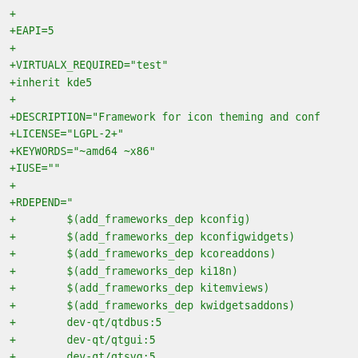+ 
+EAPI=5
+
+VIRTUALX_REQUIRED="test"
+inherit kde5
+
+DESCRIPTION="Framework for icon theming and conf
+LICENSE="LGPL-2+"
+KEYWORDS="~amd64 ~x86"
+IUSE=""
+
+RDEPEND="
+        $(add_frameworks_dep kconfig)
+        $(add_frameworks_dep kconfigwidgets)
+        $(add_frameworks_dep kcoreaddons)
+        $(add_frameworks_dep ki18n)
+        $(add_frameworks_dep kitemviews)
+        $(add_frameworks_dep kwidgetsaddons)
+        dev-qt/qtdbus:5
+        dev-qt/qtgui:5
+        dev-qt/qtsvg:5
+        dev-qt/qtwidgets:5